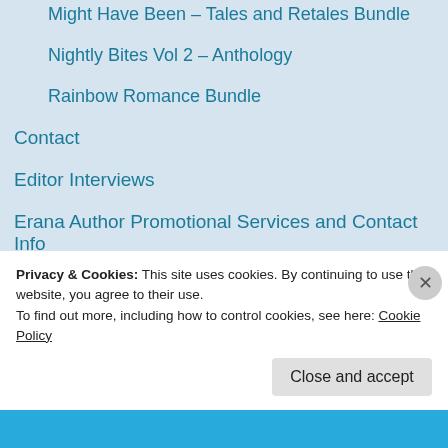Might Have Been – Tales and Retales Bundle
Nightly Bites Vol 2 – Anthology
Rainbow Romance Bundle
Contact
Editor Interviews
Erana Author Promotional Services and Contact Info
Fireside Tales Series
Friends of Erana – Useful Services and Contacts
Giveaways, Promos and Events
Privacy & Cookies: This site uses cookies. By continuing to use this website, you agree to their use.
To find out more, including how to control cookies, see here: Cookie Policy
Close and accept